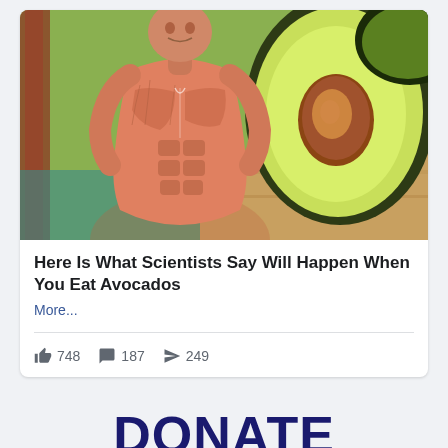[Figure (photo): Composite image of an anatomical human muscle figure (showing exposed musculature) on the left side overlaid with a halved avocado showing the pit on the right side, on a wooden surface background.]
Here Is What Scientists Say Will Happen When You Eat Avocados
More...
748  187  249
DONATE
Our ability to continue depends on you!